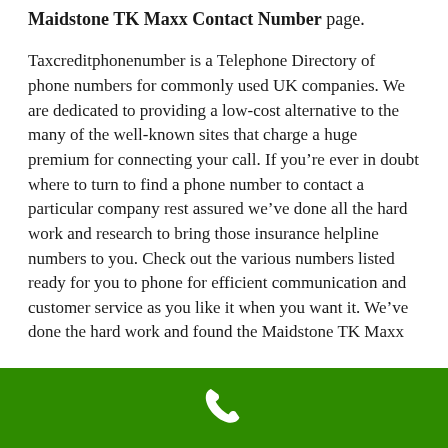Maidstone TK Maxx Contact Number page.
Taxcreditphonenumber is a Telephone Directory of phone numbers for commonly used UK companies. We are dedicated to providing a low-cost alternative to the many of the well-known sites that charge a huge premium for connecting your call. If you're ever in doubt where to turn to find a phone number to contact a particular company rest assured we've done all the hard work and research to bring those insurance helpline numbers to you. Check out the various numbers listed ready for you to phone for efficient communication and customer service as you like it when you want it. We've done the hard work and found the Maidstone TK Maxx
[Figure (other): Green bar at the bottom with a white phone handset icon centered]